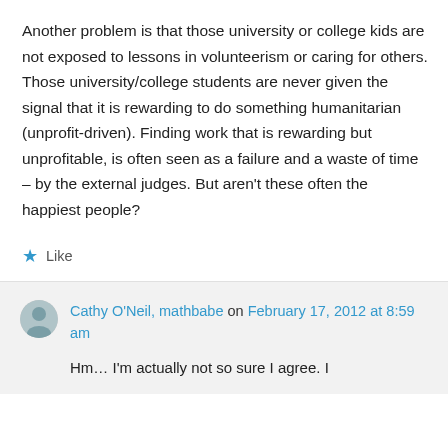Another problem is that those university or college kids are not exposed to lessons in volunteerism or caring for others. Those university/college students are never given the signal that it is rewarding to do something humanitarian (unprofit-driven). Finding work that is rewarding but unprofitable, is often seen as a failure and a waste of time – by the external judges. But aren't these often the happiest people?
Like
Cathy O'Neil, mathbabe on February 17, 2012 at 8:59 am
Hm… I'm actually not so sure I agree. I